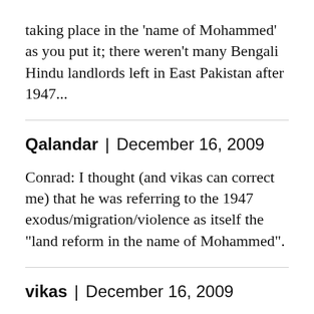taking place in the 'name of Mohammed' as you put it; there weren't many Bengali Hindu landlords left in East Pakistan after 1947...
Qalandar | December 16, 2009
Conrad: I thought (and vikas can correct me) that he was referring to the 1947 exodus/migration/violence as itself the "land reform in the name of Mohammed".
vikas | December 16, 2009